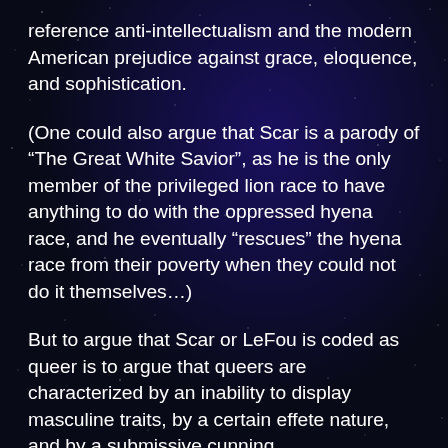reference anti-intellectualism and the modern American prejudice against grace, eloquence, and sophistication.
(One could also argue that Scar is a parody of “The Great White Savior”, as he is the only member of the privileged lion race to have anything to do with the oppressed hyena race, and he eventually “rescues” the hyena race from their poverty when they could not do it themselves…)
But to argue that Scar or LeFou is coded as queer is to argue that queers are characterized by an inability to display masculine traits, by a certain effete nature, and by a submissive cunning.